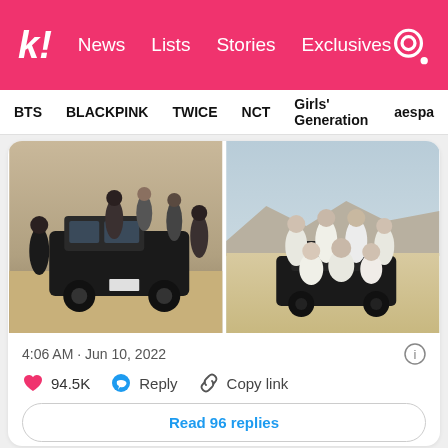k! News Lists Stories Exclusives
BTS  BLACKPINK  TWICE  NCT  Girls' Generation  aespa
[Figure (photo): Two side-by-side photos of BTS members: left photo shows members around a dark truck on a beach; right photo shows members in white outfits posed on/around a vehicle on a sandy landscape.]
4:06 AM · Jun 10, 2022
94.5K  Reply  Copy link
Read 96 replies
· 🅱 · @weejimin · Follow